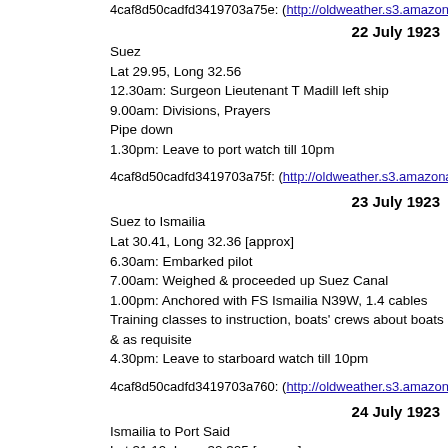4caf8d50cadfd3419703a75e: (http://oldweather.s3.amazonaws.com/A...
22 July 1923
Suez
Lat 29.95, Long 32.56
12.30am: Surgeon Lieutenant T Madill left ship
9.00am: Divisions, Prayers
Pipe down
1.30pm: Leave to port watch till 10pm
4caf8d50cadfd3419703a75f: (http://oldweather.s3.amazonaws.com/Al...
23 July 1923
Suez to Ismailia
Lat 30.41, Long 32.36 [approx]
6.30am: Embarked pilot
7.00am: Weighed & proceeded up Suez Canal
1.00pm: Anchored with FS Ismailia N39W, 1.4 cables
Training classes to instruction, boats' crews about boats & as requisite
4.30pm: Leave to starboard watch till 10pm
4caf8d50cadfd3419703a760: (http://oldweather.s3.amazonaws.com/A...
24 July 1923
Ismailia to Port Said
Lat 31.19, Long 32.305 [approx]
6.00am: Hands to bathe
7.30am: Embarked pilot
7.55am: Weighed & proceeded as requisite for Suez Canal
am: Hands cleaning paintwork & as requisite